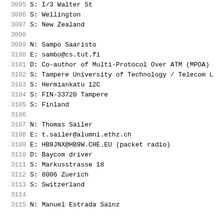3095    S: I/3 Walter St
3096    S: Wellington
3097    S: New Zealand
3098
3099    N: Sampo Saaristo
3100    E: sambo@cs.tut.fi
3101    D: Co-author of Multi-Protocol Over ATM (MPOA)
3102    S: Tampere University of Technology / Telecom L
3103    S: Hermiankatu 12C
3104    S: FIN-33720 Tampere
3105    S: Finland
3106
3107    N: Thomas Sailer
3108    E: t.sailer@alumni.ethz.ch
3109    E: HB9JNX@HB9W.CHE.EU (packet radio)
3110    D: Baycom driver
3111    S: Markusstrasse 18
3112    S: 8006 Zuerich
3113    S: Switzerland
3114
3115    N: Manuel Estrada Sainz